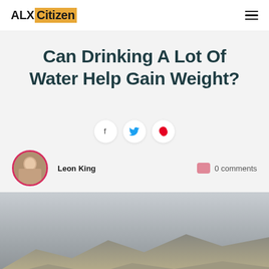ALX Citizen
Can Drinking A Lot Of Water Help Gain Weight?
[Figure (other): Social share buttons: Facebook, Twitter, Pinterest]
Leon King   0 comments
[Figure (photo): Landscape photo showing mountains or hills with sky, partially visible at bottom of page]